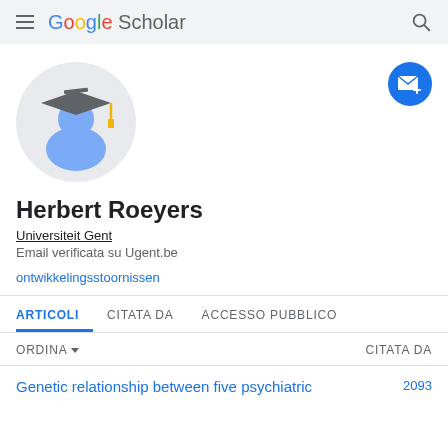Google Scholar
[Figure (illustration): Google Scholar user avatar icon: a circular gray background with a blue generic person silhouette wearing a dark gray academic graduation cap with a gold tassel.]
[Figure (illustration): Blue circular follow/email button with a white envelope icon and a plus sign.]
Herbert Roeyers
Universiteit Gent
Email verificata su Ugent.be
ontwikkelingsstoornissen
ARTICOLI   CITATA DA   ACCESSO PUBBLICO
ORDINA   CITATA DA
Genetic relationship between five psychiatric   2093